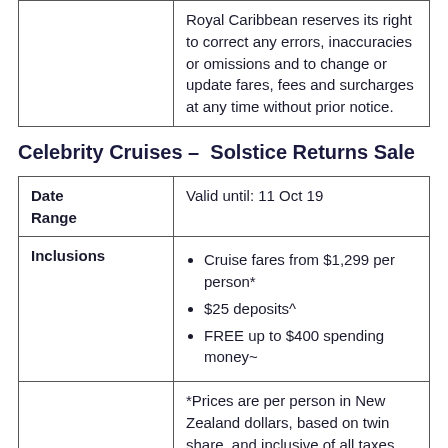|  | Royal Caribbean reserves its right to correct any errors, inaccuracies or omissions and to change or update fares, fees and surcharges at any time without prior notice. |
Celebrity Cruises – Solstice Returns Sale
| Date Range | Valid until: 11 Oct 19 |
| Inclusions | Cruise fares from $1,299 per person*
$25 deposits^
FREE up to $400 spending money~ |
|  | *Prices are per person in New Zealand dollars, based on twin share, and inclusive of all taxes, fees and charges at time of publication. |